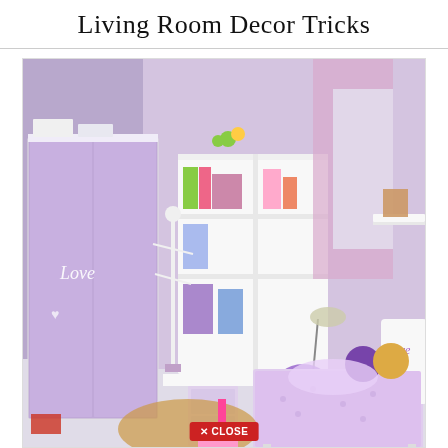Living Room Decor Tricks
[Figure (photo): A girl's bedroom decorated in purple/lavender theme with a white wardrobe with 'Love' written on it, a bookshelf/desk combo, a purple office chair, a bed with lavender bedding and stuffed animals, purple curtains, a coat rack, a white floating shelf, and toys on the floor including a pink shovel and brown rug.]
✕ CLOSE